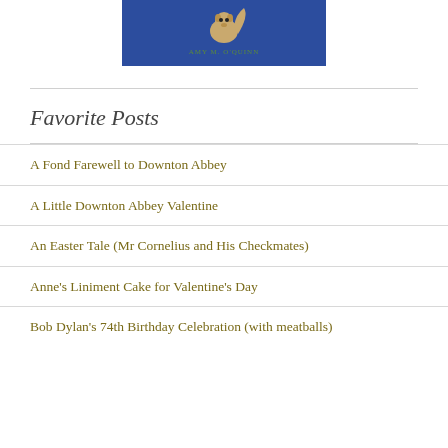[Figure (illustration): Book cover image showing a squirrel illustration on a blue background with the author name AMY M. O'QUINN in green text]
Favorite Posts
A Fond Farewell to Downton Abbey
A Little Downton Abbey Valentine
An Easter Tale (Mr Cornelius and His Checkmates)
Anne's Liniment Cake for Valentine's Day
Bob Dylan's 74th Birthday Celebration (with meatballs)